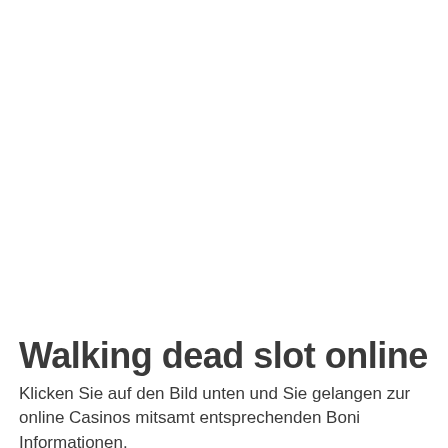Walking dead slot online
Klicken Sie auf den Bild unten und Sie gelangen zur online Casinos mitsamt entsprechenden Boni Informationen.